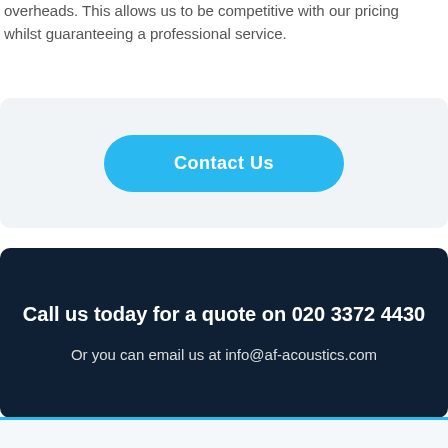overheads. This allows us to be competitive with our pricing whilst guaranteeing a professional service.
[Figure (other): Light grey rounded rectangle containing a blue 'Contact Us' button]
Call us today for a quote on 020 3372 4430
Or you can email us at info@af-acoustics.com